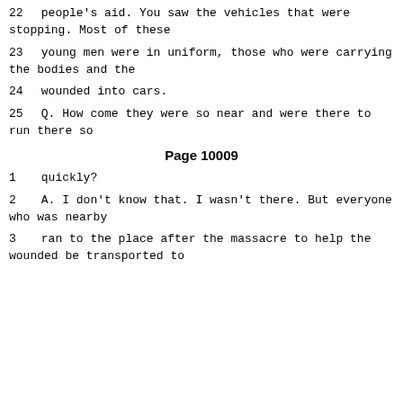22      people's aid.  You saw the vehicles that were stopping.  Most of these
23      young men were in uniform, those who were carrying the bodies and the
24      wounded into cars.
25      Q.    How come they were so near and were there to run there so
Page 10009
1       quickly?
2       A.    I don't know that.  I wasn't there.  But everyone who was nearby
3       ran to the place after the massacre to help the wounded be transported to